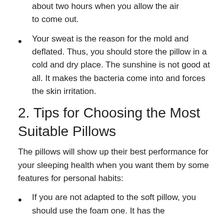about two hours when you allow the air to come out.
Your sweat is the reason for the mold and deflated. Thus, you should store the pillow in a cold and dry place. The sunshine is not good at all. It makes the bacteria come into and forces the skin irritation.
2. Tips for Choosing the Most Suitable Pillows
The pillows will show up their best performance for your sleeping health when you want them by some features for personal habits:
If you are not adapted to the soft pillow, you should use the foam one. It has the